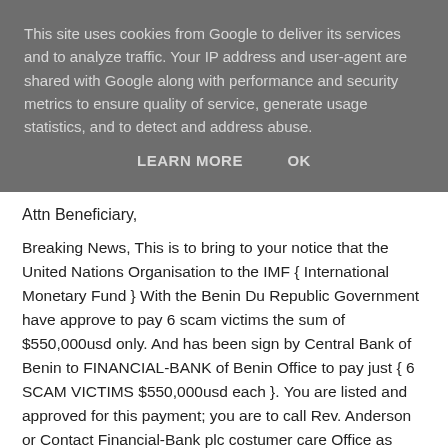This site uses cookies from Google to deliver its services and to analyze traffic. Your IP address and user-agent are shared with Google along with performance and security metrics to ensure quality of service, generate usage statistics, and to detect and address abuse.
LEARN MORE   OK
Attn Beneficiary,
Breaking News, This is to bring to your notice that the United Nations Organisation to the IMF { International Monetary Fund } With the Benin Du Republic Government have approve to pay 6 scam victims the sum of $550,000usd only. And has been sign by Central Bank of Benin to FINANCIAL-BANK of Benin Office to pay just { 6 SCAM VICTIMS $550,000usd each }. You are listed and approved for this payment; you are to call Rev. Anderson or Contact Financial-Bank plc costumer care Office as soon as possible for the immediate transfer of your $550,000usd direct into you bank account via online banking system. With your full details.